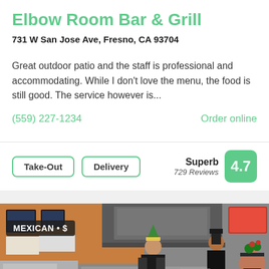Elbow Room Bar & Grill
731 W San Jose Ave, Fresno, CA 93704
Great outdoor patio and the staff is professional and accommodating. While I don't love the menu, the food is still good. The service however is...
(559) 227-1234
Order online
Take-Out
Delivery
Superb
729 Reviews
4.7
[Figure (photo): Kitchen photo of Elbow Room Bar & Grill showing staff working in the kitchen with an orange wall and stainless steel equipment. Staff wearing holiday accessories. Overlay label reads MEXICAN • $]